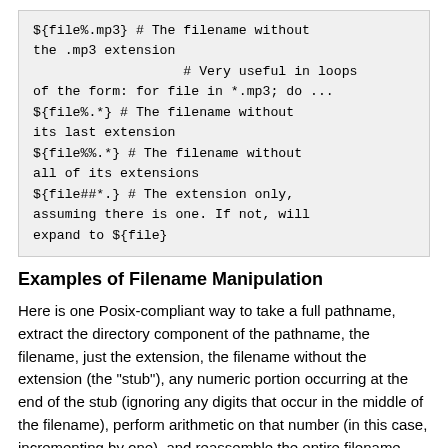${file%.mp3}    # The filename without the .mp3 extension
                   # Very useful in loops of the form: for file in *.mp3; do ...
${file%.*}      # The filename without its last extension
${file%%.*}     # The filename without all of its extensions
${file##*.}     # The extension only, assuming there is one. If not, will expand to ${file}
Examples of Filename Manipulation
Here is one Posix-compliant way to take a full pathname, extract the directory component of the pathname, the filename, just the extension, the filename without the extension (the "stub"), any numeric portion occurring at the end of the stub (ignoring any digits that occur in the middle of the filename), perform arithmetic on that number (in this case, incrementing by one), and reassemble the entire filename adding a prefix to the filename and replacing the number in the filename with